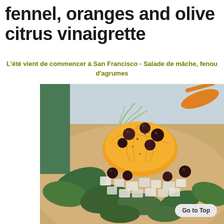fennel, oranges and olive citrus vinaigrette
L'été vient de commencer à San Francisco  - Salade de mâche, fenou d'agrumes
[Figure (photo): A salad dish featuring orange segments, dark olives, diced fennel, and mâche/lamb's lettuce leaves arranged on a plate, photographed close-up.]
Go to Top